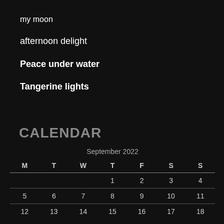my moon
afternoon delight
Peace under water
Tangerine lights
CALENDAR
| M | T | W | T | F | S | S |
| --- | --- | --- | --- | --- | --- | --- |
|  |  |  | 1 | 2 | 3 | 4 |
| 5 | 6 | 7 | 8 | 9 | 10 | 11 |
| 12 | 13 | 14 | 15 | 16 | 17 | 18 |